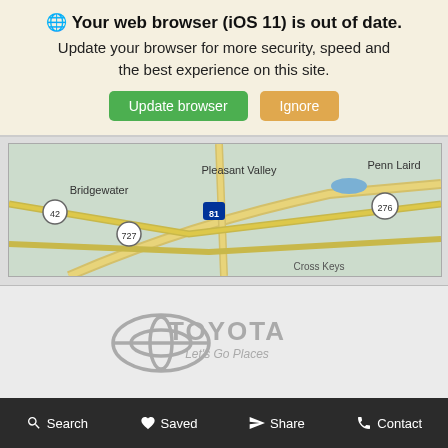🌐 Your web browser (iOS 11) is out of date. Update your browser for more security, speed and the best experience on this site.
Update browser | Ignore
[Figure (map): Road map showing Bridgewater, Pleasant Valley, Penn Laird, Cross Keys area with routes 42, 727, 81, 276]
[Figure (logo): Toyota logo with tagline Let's Go Places]
Search  Saved  Share  Contact